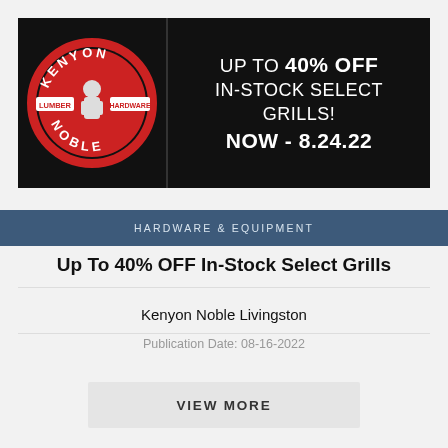[Figure (logo): Kenyon Noble Lumber Hardware promotional banner ad on black background with red circular logo on the left and white text 'UP TO 40% OFF IN-STOCK SELECT GRILLS! NOW - 8.24.22' on the right]
HARDWARE & EQUIPMENT
Up To 40% OFF In-Stock Select Grills
Kenyon Noble Livingston
Publication Date: 08-16-2022
VIEW MORE